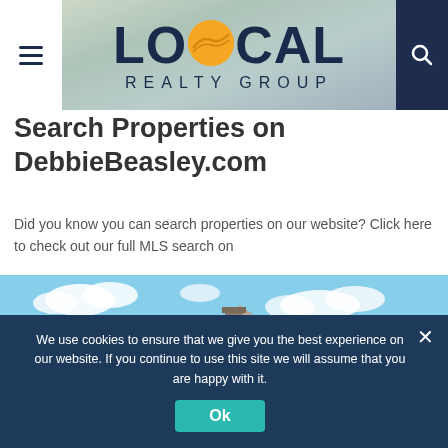[Figure (logo): Local Realty Group logo with orange circular emblem in the O, on a blurred house background]
Search Properties on DebbieBeasley.com
Did you know you can search properties on our website? Click here to check out our full MLS search on
[Figure (photo): Photo of a house rooftop with chimneys against a blue sky with clouds]
We use cookies to ensure that we give you the best experience on our website. If you continue to use this site we will assume that you are happy with it.